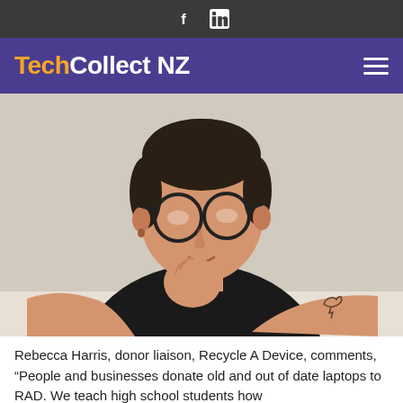Facebook LinkedIn (social bar icons)
TechCollect NZ
[Figure (photo): Portrait photo of Rebecca Harris, a woman with short dark hair and round glasses, wearing a black t-shirt, resting her chin on her hand, with a tattoo visible on her forearm, photographed against a light grey background]
Rebecca Harris, donor liaison, Recycle A Device, comments, “People and businesses donate old and out of date laptops to RAD. We teach high school students how